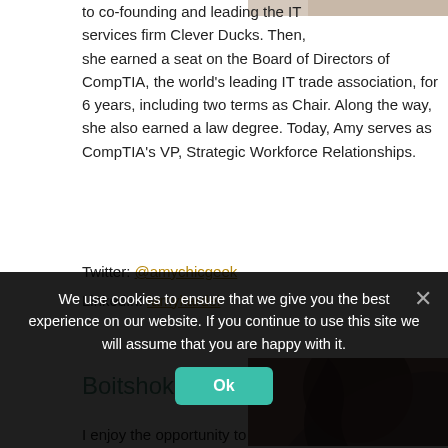[Figure (photo): Partial photo of a person at the top right of the page]
to co-founding and leading the IT services firm Clever Ducks. Then, she earned a seat on the Board of Directors of CompTIA, the world's leading IT trade association, for 6 years, including two terms as Chair. Along the way, she also earned a law degree. Today, Amy serves as CompTIA's VP, Strategic Workforce Relationships.
Twitter: @amychicgeek
LinkedIn: /amykardel
Boitshoko Phalatse
[Figure (photo): Photo of Boitshoko Phalatse showing braided hair]
I enjoy the opportunity to
We use cookies to ensure that we give you the best experience on our website. If you continue to use this site we will assume that you are happy with it.
Ok